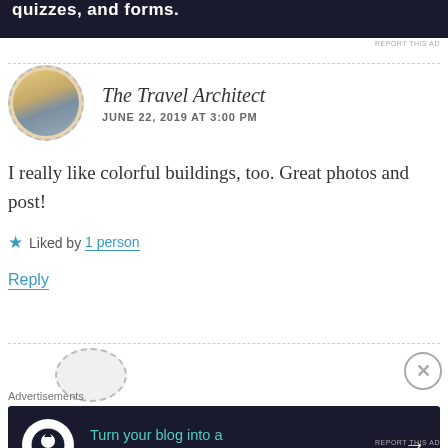[Figure (other): Top advertisement banner with dark background showing text 'quizzes, and forms.' with WordPress logo]
REPORT THIS AD
The Travel Architect
JUNE 22, 2019 AT 3:00 PM
I really like colorful buildings, too. Great photos and post!
★ Liked by 1 person
Reply
Advertisements
[Figure (other): Advertisement banner: 'Turn your blog into a money-making online course.' with arrow button on dark background]